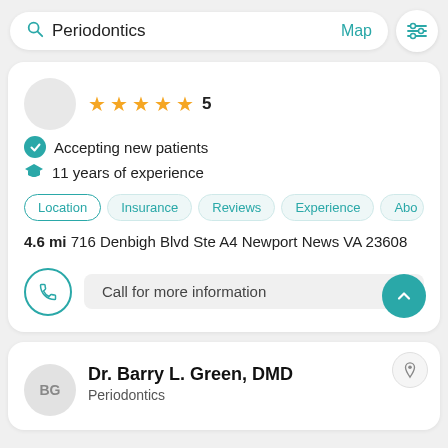[Figure (screenshot): Search bar with 'Periodontics' text, Map link, and filter icon]
★★★★★ 5
✓ Accepting new patients
🎓 11 years of experience
Location | Insurance | Reviews | Experience | Abo
4.6 mi 716 Denbigh Blvd Ste A4 Newport News VA 23608
Call for more information
Dr. Barry L. Green, DMD
Periodontics